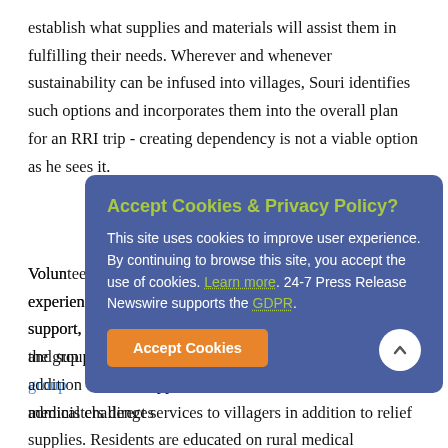establish what supplies and materials will assist them in fulfilling their needs. Wherever and whenever sustainability can be infused into villages, Souri identifies such options and incorporates them into the overall plan for an RRI trip - creating dependency is not a viable option as he sees it.
Volunteers are selected based upon skill sets and experience including: caravan organizing, medical team support, and supporting the medical team that accompanies the group administers direct services to villagers in addition to relief supplies. Residents are educated on rural medical challenges
[Figure (other): Cookie consent overlay banner with blue background. Title: 'Accept Cookies & Privacy Policy?' in green/yellow. Body text: 'This site uses cookies to improve user experience. By continuing to browse this site, you accept the use of cookies. Learn more. 24-7 Press Release Newswire supports the GDPR.' with green dotted underline links. Orange 'Accept Cookies' button at bottom left. White circular scroll-to-top button at bottom right with upward chevron.]